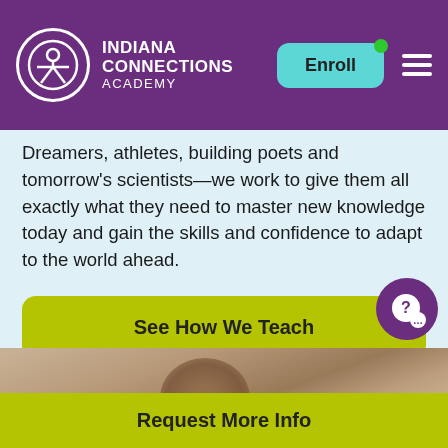[Figure (logo): Indiana Connections Academy logo with white circle icon and text on purple header background]
Dreamers, athletes, building poets and tomorrow's scientists—we work to give them all exactly what they need to master new knowledge today and gain the skills and confidence to adapt to the world ahead.
See How We Teach
[Figure (photo): Photo of a student or person, partially visible at the bottom of the page]
Request More Info